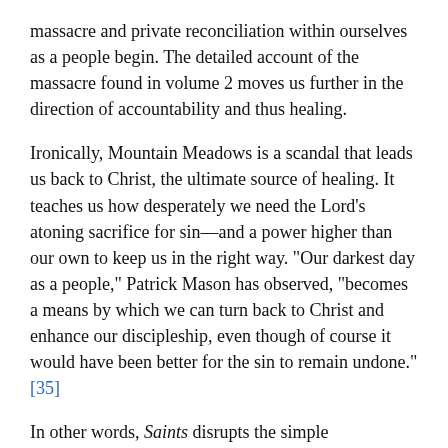massacre and private reconciliation within ourselves as a people begin. The detailed account of the massacre found in volume 2 moves us further in the direction of accountability and thus healing.
Ironically, Mountain Meadows is a scandal that leads us back to Christ, the ultimate source of healing. It teaches us how desperately we need the Lord's atoning sacrifice for sin—and a power higher than our own to keep us in the right way. "Our darkest day as a people," Patrick Mason has observed, "becomes a means by which we can turn back to Christ and enhance our discipleship, even though of course it would have been better for the sin to remain undone."[35]
In other words, Saints disrupts the simple conceptions we might have about the past. Life is complicated. People are complicated. To make sense of the past, we need access to a full range of actions and behavior. Somewhat unsettlingly, volume 2 reminds us that the past does not always speak in our own language or play by our own rules.[36]
The difficult stories are or can be, in their own way, stories of faith. For believers like us, there is a moral tilt to the universe. Because of Christ, things ultimately move in the direction of